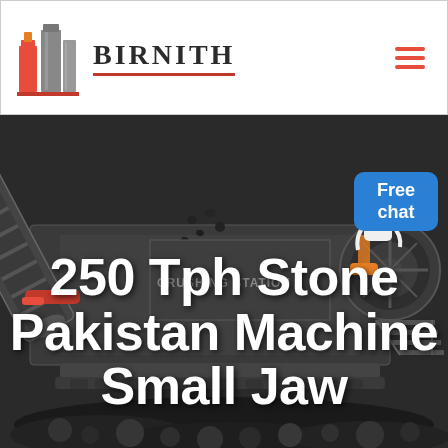[Figure (logo): Birnith company logo with orange/red building icon and brand name BIRNITH in serif bold with red underline, plus hamburger menu icon on the right]
[Figure (photo): Dark industrial background showing a stone crushing station machine (jaw crusher / mobile crushing plant) with scattered rocks and coal in the foreground, grayscale/desaturated]
250 Tph Stone Pakistan Machine Small Jaw